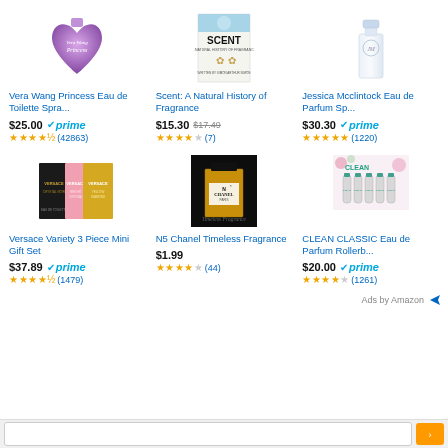[Figure (photo): Vera Wang Princess heart-shaped purple fragrance bottle]
Vera Wang Princess Eau de Toilette Spra...
$25.00 prime ★★★★½ (42863)
[Figure (photo): Scent: A Natural History of Fragrance book cover]
Scent: A Natural History of Fragrance
$15.30 $17.49 ★★★★☆ (7)
[Figure (photo): Jessica Mcclintock clear glass perfume bottle]
Jessica Mcclintock Eau de Parfum Sp...
$30.30 prime ★★★★★ (1220)
[Figure (photo): Versace Variety 3 Piece Mini Gift Set boxes]
Versace Variety 3 Piece Mini Gift Set
$37.89 prime ★★★★½ (1479)
[Figure (photo): N5 Chanel Timeless Fragrance bottle on black background]
N5 Chanel Timeless Fragrance
$1.99 ★★★★☆ (44)
[Figure (photo): CLEAN CLASSIC Eau de Parfum rollerball set]
CLEAN CLASSIC Eau de Parfum Rollerb...
$20.00 prime ★★★★☆ (1261)
Ads by Amazon